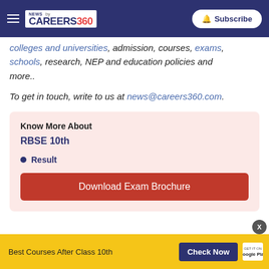NEWS by CAREERS360 | Subscribe
colleges and universities, admission, courses, exams, schools, research, NEP and education policies and more..
To get in touch, write to us at news@careers360.com.
Know More About
RBSE 10th
Result
Download Exam Brochure
Best Courses After Class 10th  Check Now  Google Play | Updated!